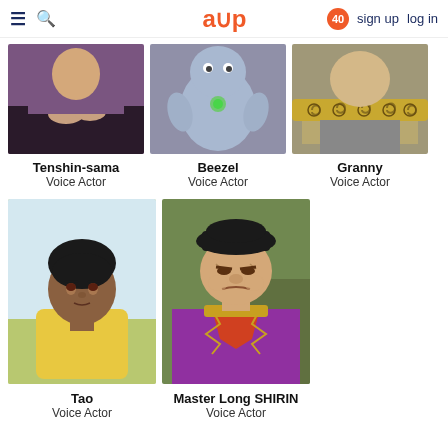≡ 🔍   a∪p   40   sign up   log in
[Figure (illustration): Anime character Tenshin-sama: hands clasped on dark surface, purple robe]
Tenshin-sama
Voice Actor
[Figure (illustration): Anime character Beezel: light blue creature with green gem on chest]
Beezel
Voice Actor
[Figure (illustration): Anime character Granny: decorative golden collar with spiral patterns]
Granny
Voice Actor
[Figure (illustration): Anime character Tao: young dark-haired boy in yellow shirt]
Tao
Voice Actor
[Figure (illustration): Anime character Master Long SHIRIN: stern old man in ornate red and purple costume with black hat]
Master Long SHIRIN
Voice Actor